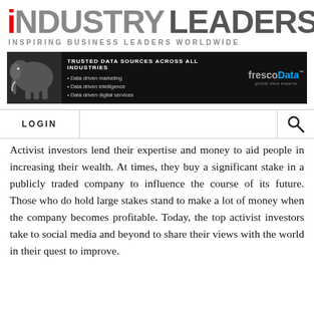iNDUSTRY LEADERS — INSPIRING BUSINESS LEADERS WORLDWIDE
[Figure (infographic): FrescoData advertisement banner featuring an elephant silhouette on dark background. Headline: TRUSTED DATA SOURCES ACROSS ALL INDUSTRIES. Bullets: Data driven marketing, Data driven intelligence, Data driven digital services. FrescoData logo with tagline: global data experts.]
LOGIN | [search icon]
Activist investors lend their expertise and money to aid people in increasing their wealth. At times, they buy a significant stake in a publicly traded company to influence the course of its future. Those who do hold large stakes stand to make a lot of money when the company becomes profitable. Today, the top activist investors take to social media and beyond to share their views with the world in their quest to improve.